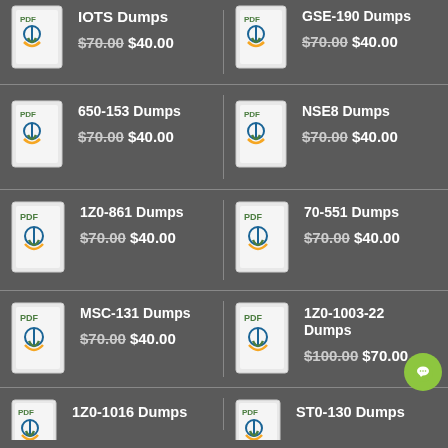[Figure (other): PDF dump book cover icon]
IOTS Dumps
$70.00 $40.00
[Figure (other): PDF dump book cover icon]
GSE-190 Dumps
$70.00 $40.00
[Figure (other): PDF dump book cover icon]
650-153 Dumps
$70.00 $40.00
[Figure (other): PDF dump book cover icon]
NSE8 Dumps
$70.00 $40.00
[Figure (other): PDF dump book cover icon]
1Z0-861 Dumps
$70.00 $40.00
[Figure (other): PDF dump book cover icon]
70-551 Dumps
$70.00 $40.00
[Figure (other): PDF dump book cover icon]
MSC-131 Dumps
$70.00 $40.00
[Figure (other): PDF dump book cover icon]
1Z0-1003-22 Dumps
$100.00 $70.00
[Figure (other): PDF dump book cover icon]
1Z0-1016 Dumps
[Figure (other): PDF dump book cover icon]
ST0-130 Dumps